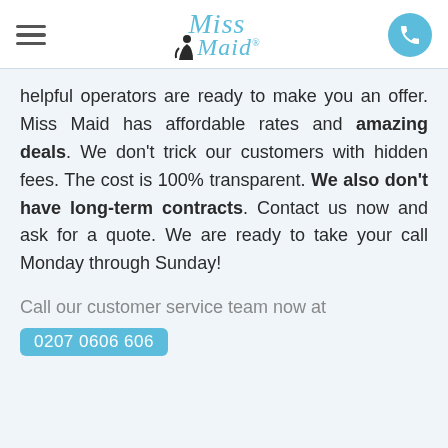Miss Maid logo with hamburger menu and phone button
helpful operators are ready to make you an offer. Miss Maid has affordable rates and amazing deals. We don't trick our customers with hidden fees. The cost is 100% transparent. We also don't have long-term contracts. Contact us now and ask for a quote. We are ready to take your call Monday through Sunday!
Call our customer service team now at 0207 0606 606